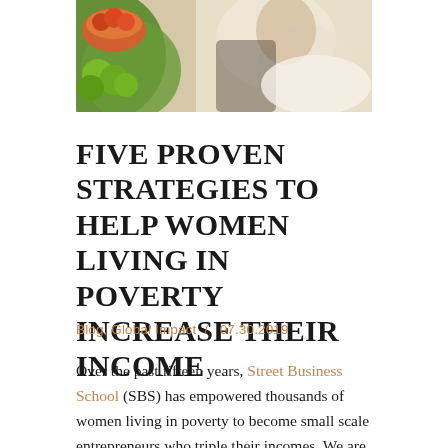[Figure (photo): Photo of women at a market with green apples/fruit and colorful produce]
FIVE PROVEN STRATEGIES TO HELP WOMEN LIVING IN POVERTY INCREASE THEIR INCOME
Blog, Global Impact  /   07.30.2019
Over the past fifteen years, Street Business School (SBS) has empowered thousands of women living in poverty to become small scale entrepreneurs who triple their incomes. We are now scaling SBS by partnering with NGOs with...